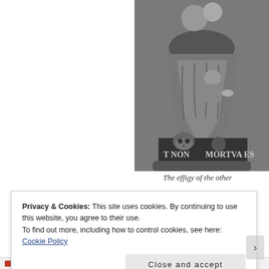[Figure (photo): Black and white photograph of a stone effigy/sculpture showing a seated figure with draped robes, with a skull at the base and Latin text reading 'T NON' and 'MORTVA EST' on the base]
The effigy of the other
Privacy & Cookies: This site uses cookies. By continuing to use this website, you agree to their use.
To find out more, including how to control cookies, see here: Cookie Policy
Close and accept